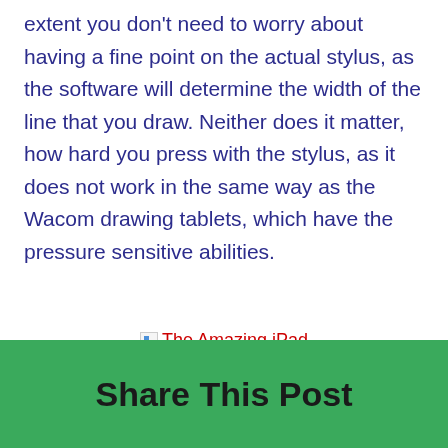extent you don't need to worry about having a fine point on the actual stylus, as the software will determine the width of the line that you draw. Neither does it matter, how hard you press with the stylus, as it does not work in the same way as the Wacom drawing tablets, which have the pressure sensitive abilities.
[Figure (other): Broken image placeholder with alt text 'The Amazing iPad']
Share This Post